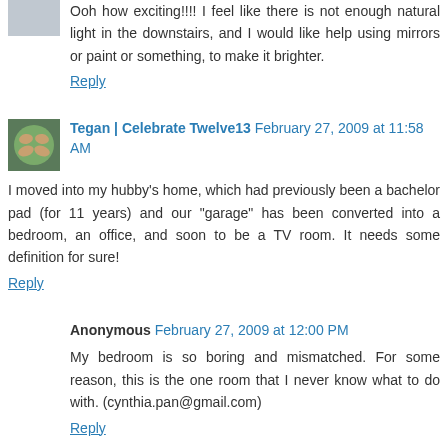Ooh how exciting!!!! I feel like there is not enough natural light in the downstairs, and I would like help using mirrors or paint or something, to make it brighter.
Reply
[Figure (photo): Small avatar photo of hands held together]
Tegan | Celebrate Twelve13  February 27, 2009 at 11:58 AM
I moved into my hubby's home, which had previously been a bachelor pad (for 11 years) and our "garage" has been converted into a bedroom, an office, and soon to be a TV room. It needs some definition for sure!
Reply
Anonymous  February 27, 2009 at 12:00 PM
My bedroom is so boring and mismatched. For some reason, this is the one room that I never know what to do with. (cynthia.pan@gmail.com)
Reply